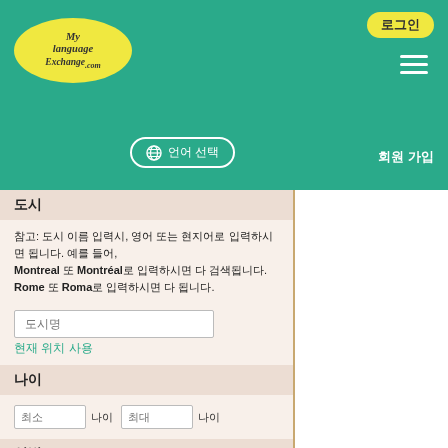[Figure (logo): MyLanguageExchange.com logo in yellow oval on teal header]
로그인 버튼, 햄버거 메뉴, 언어 선택 버튼
도시
참고: 도시 이름 입력시, 영어 또는 현지어로 입력하시면 됩니다. 예를 들어, Montreal 또는 Montréal로 입력하시면 다 검색됩니다. Rome 또는 Roma로 입력하시면 다 됩니다.
도시명
현재 위치 사용
나이
최소 나이 최대 나이
성별
- 성별 -
모국어 또는 사용
- 언어 -